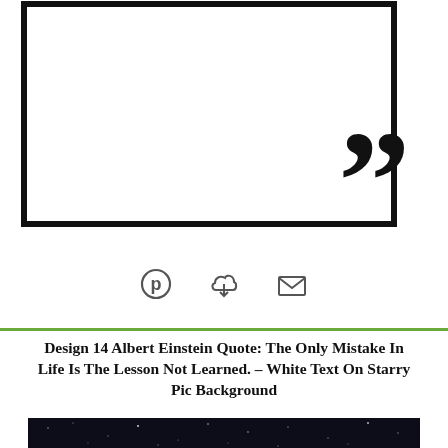[Figure (illustration): Quote design template mockup: a large black outlined rectangle with large closing double quotation marks in the bottom-right corner, suggesting a quote card design layout.]
[Figure (infographic): Three social sharing icons in a row: Pinterest (circled P), cloud download, and email/envelope icon.]
Design 14 Albert Einstein Quote: The Only Mistake In Life Is The Lesson Not Learned. – White Text On Starry Pic Background
[Figure (photo): Dark starry night sky background photo (partially visible at bottom of page).]